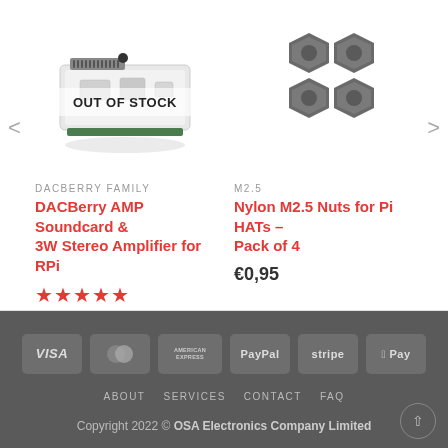[Figure (photo): DACBerry AMP Soundcard product image with OUT OF STOCK overlay]
[Figure (photo): Four nylon M2.5 hex nuts for Raspberry Pi HATs]
DACBERRY FAMILY
DACBerry AMP Soundcard & 3W Stereo Amplifier for RPi
★★★★★
€24,95
M2.5
Nylon M2.5 Nuts for Pi HATs – Pack of 4
€0,95
[Figure (infographic): Payment method icons: VISA, Mastercard, American Express, PayPal, Stripe, Apple Pay]
ABOUT  SERVICES  CONTACT  FAQ
Copyright 2022 © OSA Electronics Company Limited